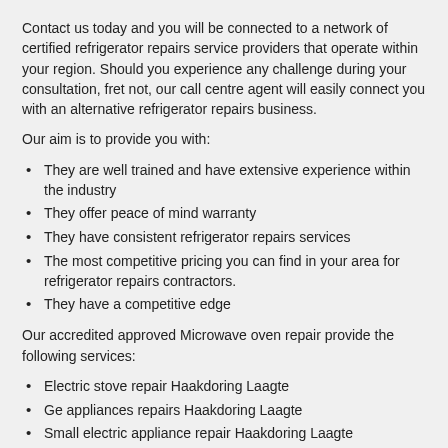Contact us today and you will be connected to a network of certified refrigerator repairs service providers that operate within your region. Should you experience any challenge during your consultation, fret not, our call centre agent will easily connect you with an alternative refrigerator repairs business.
Our aim is to provide you with:
They are well trained and have extensive experience within the industry
They offer peace of mind warranty
They have consistent refrigerator repairs services
The most competitive pricing you can find in your area for refrigerator repairs contractors.
They have a competitive edge
Our accredited approved Microwave oven repair provide the following services:
Electric stove repair Haakdoring Laagte
Ge appliances repairs Haakdoring Laagte
Small electric appliance repair Haakdoring Laagte
Washing machine repairs Haakdoring Laagte
Appliance installer Haakdoring Laagte
Washer dryer repairs Haakdoring Laagte
Lg appliance repairs Haakdoring Laagte
Freezer repair Haakdoring Laagte